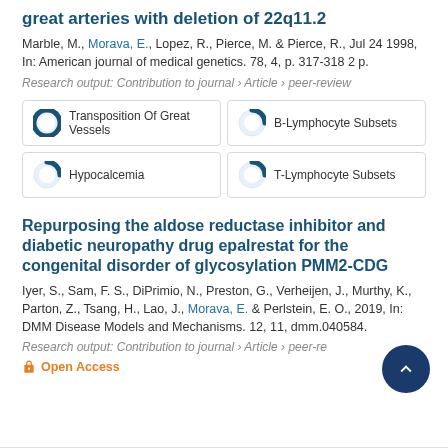great arteries with deletion of 22q11.2
Marble, M., Morava, E., Lopez, R., Pierce, M. & Pierce, R., Jul 24 1998, In: American journal of medical genetics. 78, 4, p. 317-318 2 p.
Research output: Contribution to journal › Article › peer-review
[Figure (infographic): Four badge icons with percentage fill icons and labels: Transposition Of Great Vessels (100%), B-Lymphocyte Subsets (~50%), Hypocalcemia (~50%), T-Lymphocyte Subsets (~50%)]
Repurposing the aldose reductase inhibitor and diabetic neuropathy drug epalrestat for the congenital disorder of glycosylation PMM2-CDG
Iyer, S., Sam, F. S., DiPrimio, N., Preston, G., Verheijen, J., Murthy, K., Parton, Z., Tsang, H., Lao, J., Morava, E. & Perlstein, E. O., 2019, In: DMM Disease Models and Mechanisms. 12, 11, dmm.040584.
Research output: Contribution to journal › Article › peer-re
Open Access